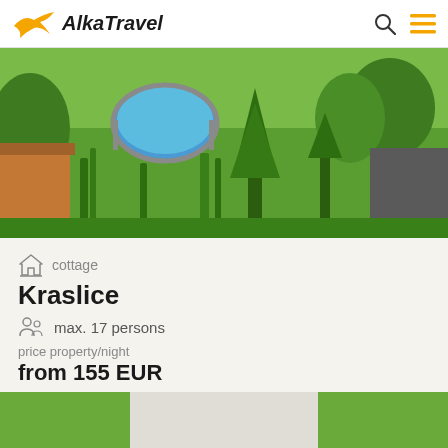AlkaTravel
[Figure (photo): Outdoor garden photo showing a green lawn with an above-ground swimming pool, trees, and a paved driveway area]
cottage
Kraslice
max. 17 persons
price property/night
from 155 EUR
[Figure (infographic): Amenity icons: WiFi, swimming pool, playground/swing set with strikethrough]